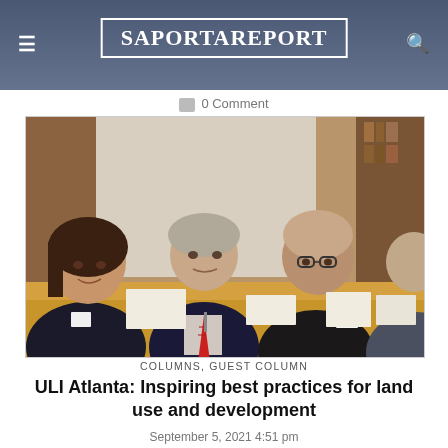SaportaReport
0 Comment
[Figure (photo): Four people seated at a conference table looking at the camera. A woman on the left, a man in a suit with a red tie in the center-left, a man in a dark sweater with glasses and a name badge in the center-right, and another man partially visible on the right.]
COLUMNS, GUEST COLUMN
ULI Atlanta: Inspiring best practices for land use and development
September 5, 2021 4:51 pm